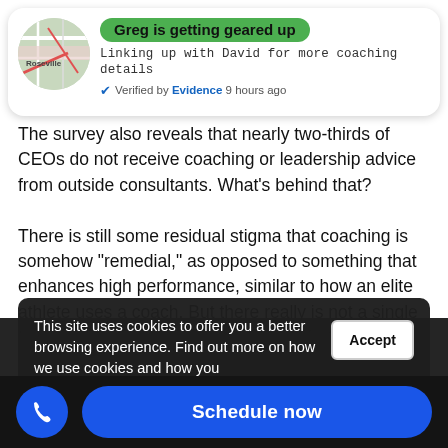[Figure (screenshot): Notification card showing a map thumbnail of Roseville with a green pill badge reading 'Greg is getting geared up', subtitle 'Linking up with David for more coaching details', and 'Verified by Evidence 9 hours ago']
The survey also reveals that nearly two-thirds of CEOs do not receive coaching or leadership advice from outside consultants. What's behind that?
There is still some residual stigma that coaching is somehow “remedial,” as opposed to something that enhances high performance, similar to how an elite athlete uses a coach. But there really is not a single top athlete who does not have a coach. CEOs should not be insecure about this issue, and instead see coaching as a strategy for improving their already high performance.
This site uses cookies to offer you a better browsing experience. Find out more on how we use cookies and how you can change your settings.
Part of this stigma comes from board members
which a
CEOs who believe in coaching and want to engage